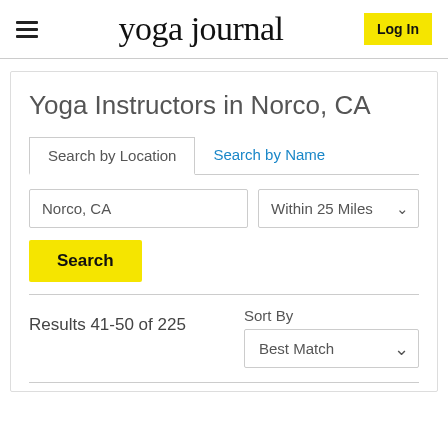yoga journal
Yoga Instructors in Norco, CA
Search by Location	Search by Name
Norco, CA	Within 25 Miles
Search
Results 41-50 of 225
Sort By
Best Match